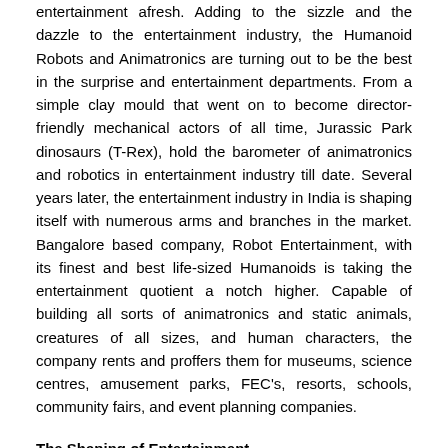entertainment afresh. Adding to the sizzle and the dazzle to the entertainment industry, the Humanoid Robots and Animatronics are turning out to be the best in the surprise and entertainment departments. From a simple clay mould that went on to become director-friendly mechanical actors of all time, Jurassic Park dinosaurs (T-Rex), hold the barometer of animatronics and robotics in entertainment industry till date. Several years later, the entertainment industry in India is shaping itself with numerous arms and branches in the market. Bangalore based company, Robot Entertainment, with its finest and best life-sized Humanoids is taking the entertainment quotient a notch higher. Capable of building all sorts of animatronics and static animals, creatures of all sizes, and human characters, the company rents and proffers them for museums, science centres, amusement parks, FEC's, resorts, schools, community fairs, and event planning companies.
The Shaping of Entertainment
Emerging from passion to build robots, Robot Entertainment stands now to become one of the largest Robotic Entertainment company in India. The company specializes in animatronics that went on to build a separate humanoid robot